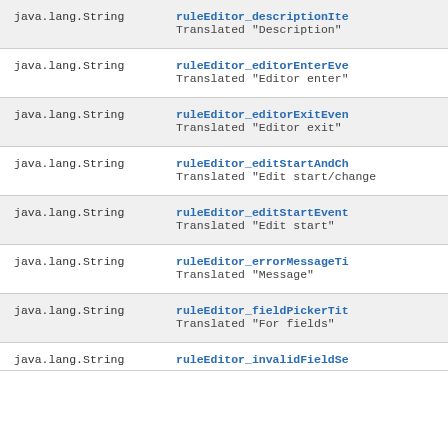| Type | Name/Description |
| --- | --- |
| java.lang.String | ruleEditor_descriptionIte...
Translated "Description" |
| java.lang.String | ruleEditor_editorEnterEve...
Translated "Editor enter" |
| java.lang.String | ruleEditor_editorExitEven...
Translated "Editor exit" |
| java.lang.String | ruleEditor_editStartAndCh...
Translated "Edit start/change..." |
| java.lang.String | ruleEditor_editStartEvent...
Translated "Edit start" |
| java.lang.String | ruleEditor_errorMessageTi...
Translated "Message" |
| java.lang.String | ruleEditor_fieldPickerTit...
Translated "For fields" |
| java.lang.String | ruleEditor_invalidFieldSe... |